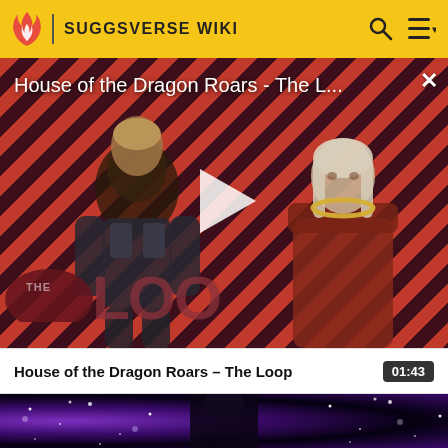SUGGSVERSE WIKI
[Figure (screenshot): Video player showing 'House of the Dragon Roars - The L...' with a play button overlay, diagonal red and dark stripe background pattern, two characters visible (armored figure on left, woman with gold necklace on right), and 'THE LOOP' logo in lower left. Close (X) button in top right corner.]
House of the Dragon Roars - The Loop
01:43
[Figure (screenshot): Thumbnail of a second video showing a dark space/galaxy background with purple nebula effects and stars, a dark silhouetted figure in center.]